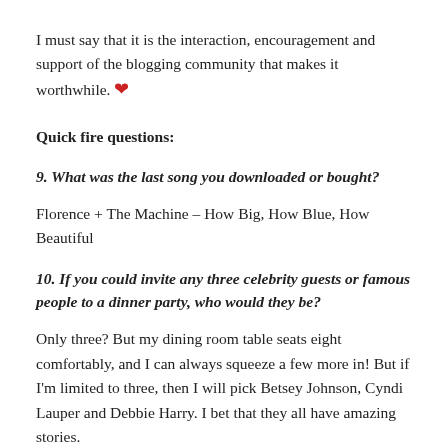I must say that it is the interaction, encouragement and support of the blogging community that makes it worthwhile. ❤
Quick fire questions:
9. What was the last song you downloaded or bought?
Florence + The Machine – How Big, How Blue, How Beautiful
10. If you could invite any three celebrity guests or famous people to a dinner party, who would they be?
Only three? But my dining room table seats eight comfortably, and I can always squeeze a few more in! But if I'm limited to three, then I will pick Betsey Johnson, Cyndi Lauper and Debbie Harry. I bet that they all have amazing stories.